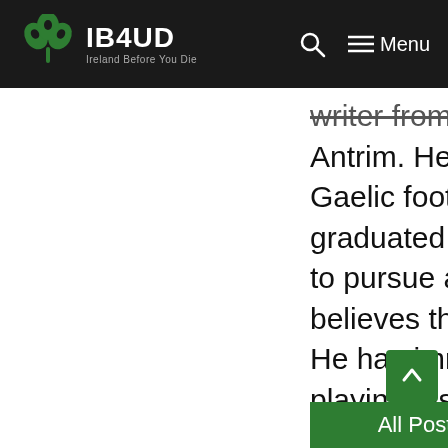IB4UD — Ireland Before You Die — navigation bar with logo, search, and menu
writer from Belfast, County Antrim. He is a passionate sports man who plays Gaelic football for Naomh Gall GAC. He recently graduated with a degree in Law but instead wants to pursue a career in writing. He loves Ireland and believes the island offers something for everyone. He has immersed himself into the country by playing Irish sports, taking part in the culture and learning the Irish langua...
All Posts by Author